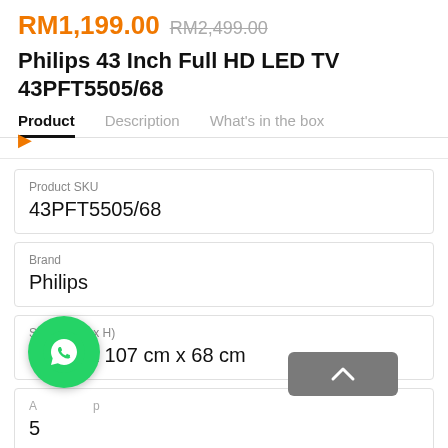RM1,199.00 RM2,499.00
Philips 43 Inch Full HD LED TV 43PFT5505/68
Product | Description | What's in the box
| Field | Value |
| --- | --- |
| Product SKU | 43PFT5505/68 |
| Brand | Philips |
| Size (L x W x H) | 14 cm x 107 cm x 68 cm |
| Age Group | 5 |
Quantity
1